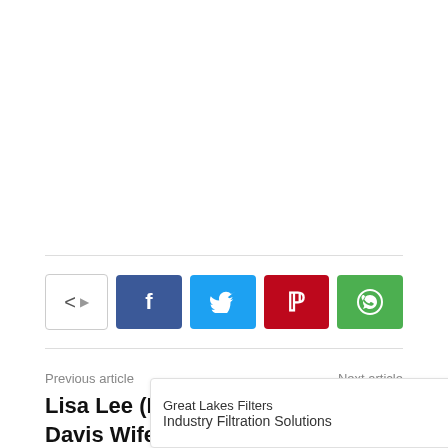[Figure (other): Social share buttons row: share toggle icon, Facebook (blue), Twitter (cyan), Pinterest (red), WhatsApp (green)]
Previous article
Next article
Lisa Lee (Mark Davis Wife) Wikipedia, Age, Height, Weight
How Old Is Elvira, Mistress of the Dark
[Figure (other): Advertisement banner: Great Lakes Filters — Industry Filtration Solutions — GET QUOTE button]